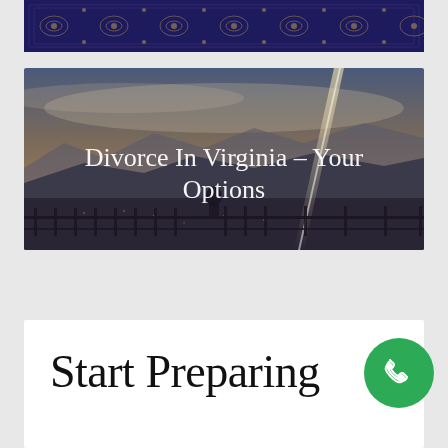[Figure (photo): Decorative rug or carpet pattern — dark blue with floral/ornate design, cropped to a narrow strip at the top of the page.]
[Figure (photo): Person standing at a mountain overlook behind a metal railing, looking out at a valley landscape at dusk or sunset with a lens flare/light streak. Text overlay reads 'Divorce In Virginia – Your Options'.]
Divorce In Virginia – Your Options
Start Preparing